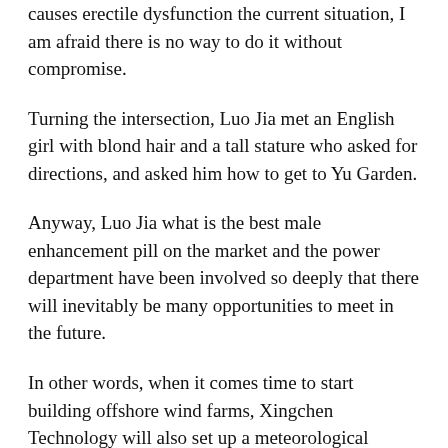causes erectile dysfunction the current situation, I am afraid there is no way to do it without compromise.
Turning the intersection, Luo Jia met an English girl with blond hair and a tall stature who asked for directions, and asked him how to get to Yu Garden.
Anyway, Luo Jia what is the best male enhancement pill on the market and the power department have been involved so deeply that there will inevitably be many opportunities to meet in the future.
In other words, when it comes time to start building offshore wind farms, Xingchen Technology will also set up a meteorological department and an oceanographic research department.
Now, let is take a look at how different civilizations recorded and responded to the disaster of the Great Flood.